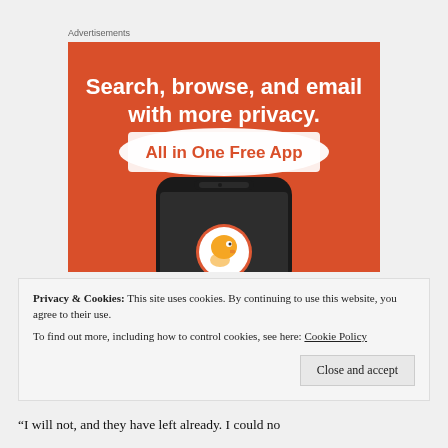[Figure (advertisement): DuckDuckGo advertisement on orange background. Text reads 'Search, browse, and email with more privacy. All in One Free App'. Shows a smartphone with the DuckDuckGo duck logo.]
Privacy & Cookies: This site uses cookies. By continuing to use this website, you agree to their use.
To find out more, including how to control cookies, see here: Cookie Policy
Close and accept
“I will not, and they have left already. I could no